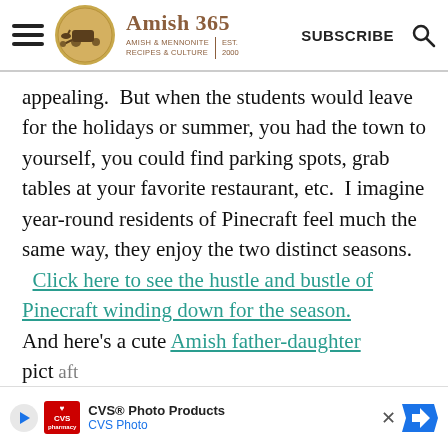Amish 365 | AMISH & MENNONITE RECIPES & CULTURE | EST. 2000 | SUBSCRIBE
appealing.  But when the students would leave for the holidays or summer, you had the town to yourself, you could find parking spots, grab tables at your favorite restaurant, etc.  I imagine year-round residents of Pinecraft feel much the same way, they enjoy the two distinct seasons. Click here to see the hustle and bustle of Pinecraft winding down for the season. And here's a cute Amish father-daughter pict... aft chill...
[Figure (other): CVS Photo Products advertisement banner at the bottom of the page]